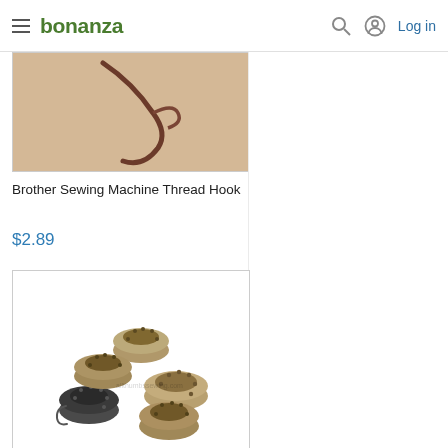bonanza | Log in
[Figure (photo): Close-up photo of a Brother sewing machine thread hook on a beige/tan background]
Brother Sewing Machine Thread Hook
$2.89
[Figure (photo): Multiple metal bobbins and one bobbin case for sewing machines, arranged in a group on white background]